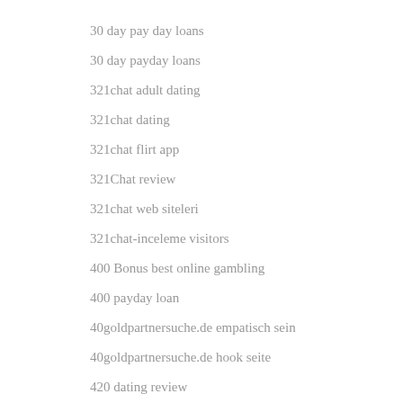30 day pay day loans
30 day payday loans
321chat adult dating
321chat dating
321chat flirt app
321Chat review
321chat web siteleri
321chat-inceleme visitors
400 Bonus best online gambling
400 payday loan
40goldpartnersuche.de empatisch sein
40goldpartnersuche.de hook seite
420 dating review
420 Seznamka telefonni cislo